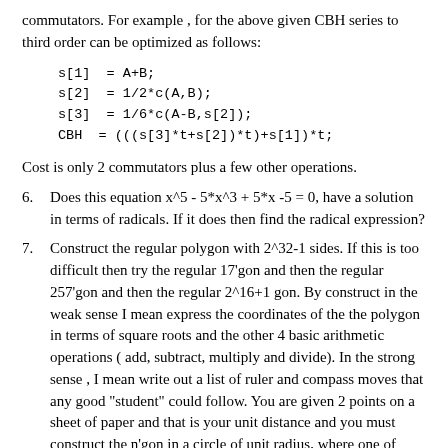commutators. For example , for the above given CBH series to third order can be optimized as follows:
Cost is only 2 commutators plus a few other operations.
6. Does this equation x^5 - 5*x^3 + 5*x -5 = 0, have a solution in terms of radicals. If it does then find the radical expression?
7. Construct the regular polygon with 2^32-1 sides. If this is too difficult then try the regular 17'gon and then the regular 257'gon and then the regular 2^16+1 gon. By construct in the weak sense I mean express the coordinates of the the polygon in terms of square roots and the other 4 basic arithmetic operations ( add, subtract, multiply and divide). In the strong sense , I mean write out a list of ruler and compass moves that any good "student" could follow. You are given 2 points on a sheet of paper and that is your unit distance and you must construct the n'gon in a circle of unit radius, where one of your given points is the center of the unit circle and